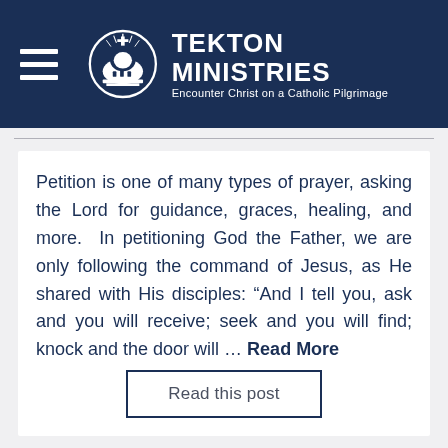[Figure (logo): Tekton Ministries logo with navigation header. Dark navy blue background with hamburger menu icon on left, circular dome/church logo in center-left, and 'TEKTON MINISTRIES' text with tagline 'Encounter Christ on a Catholic Pilgrimage' on right.]
Petition is one of many types of prayer, asking the Lord for guidance, graces, healing, and more.  In petitioning God the Father, we are only following the command of Jesus, as He shared with His disciples: “And I tell you, ask and you will receive; seek and you will find; knock and the door will … Read More
Read this post